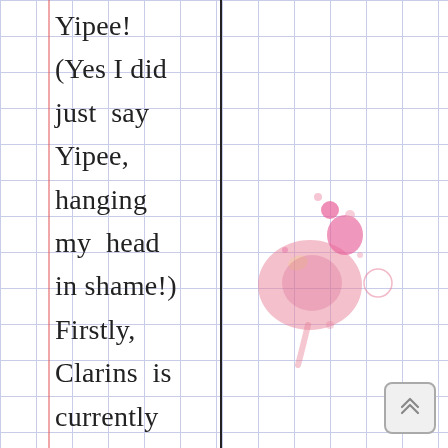Yipee! (Yes I did just say Yipee, hanging my head in shame!) Firstly, Clarins is currently doing...
[Figure (illustration): Pink watercolor ink splatter/blob on grid paper background]